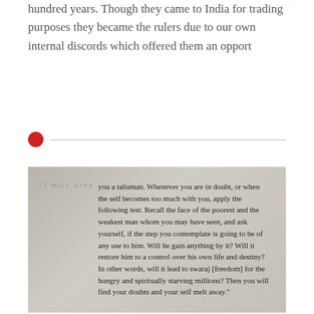hundred years. Though they came to India for trading purposes they became the rulers due to our own internal discords which offered them an opport
[Figure (photo): Photograph of a printed book page showing a famous Gandhi quote in italic serif font with small-caps label 'I WILL GIVE'. The quote reads: 'I will give you a talisman. Whenever you are in doubt, or when the self becomes too much with you, apply the following test. Recall the face of the poorest and the weakest man whom you may have seen, and ask yourself, if the step you contemplate is going to be of any use to him. Will he gain anything by it? Will it restore him to a control over his own life and destiny? In other words, will it lead to swaraj [freedom] for the hungry and spiritually starving millions? Then you will find your doubts and your self melt away.']